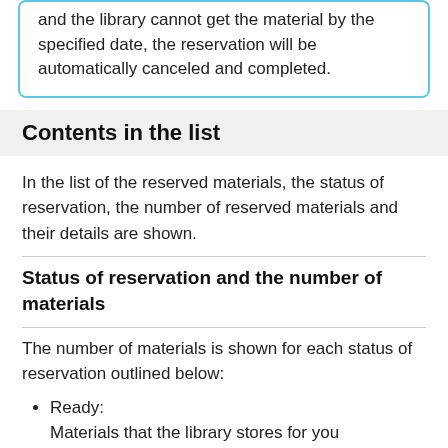and the library cannot get the material by the specified date, the reservation will be automatically canceled and completed.
Contents in the list
In the list of the reserved materials, the status of reservation, the number of reserved materials and their details are shown.
Status of reservation and the number of materials
The number of materials is shown for each status of reservation outlined below:
Ready:
Materials that the library stores for you
Shipped: